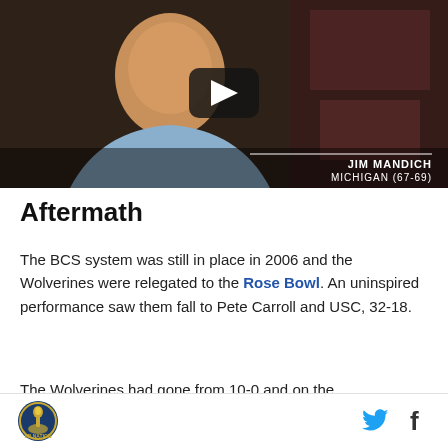[Figure (screenshot): Video thumbnail showing Jim Mandich, Michigan (67-69), a man in a light blue shirt against a dark background, with a YouTube-style play button overlay and a name chyron in the lower right corner.]
Aftermath
The BCS system was still in place in 2006 and the Wolverines were relegated to the Rose Bowl. An uninspired performance saw them fall to Pete Carroll and USC, 32-18.
The Wolverines had gone from 10-0 and on the
SB Nation logo | Twitter icon | Facebook icon